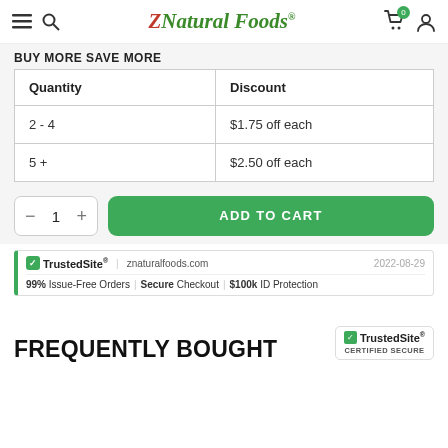Z Natural Foods
BUY MORE SAVE MORE
| Quantity | Discount |
| --- | --- |
| 2 - 4 | $1.75 off each |
| 5 + | $2.50 off each |
- 1 + ADD TO CART
TrustedSite | znaturalfoods.com | 2022-08-29 | 99% Issue-Free Orders | Secure Checkout | $100k ID Protection
FREQUENTLY BOUGHT
[Figure (logo): TrustedSite Certified Secure badge]